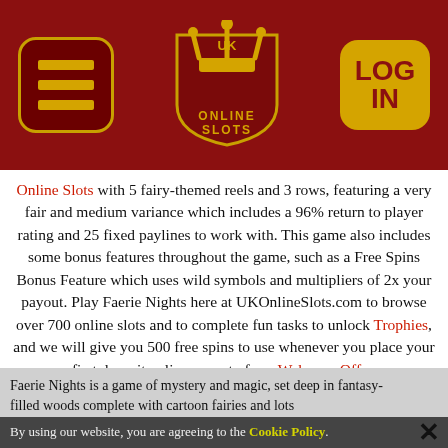[Figure (logo): UK Online Slots website header with hamburger menu button on left, UK Online Slots crown logo in center, and yellow LOG IN button on right, on dark red background]
Online Slots with 5 fairy-themed reels and 3 rows, featuring a very fair and medium variance which includes a 96% return to player rating and 25 fixed paylines to work with. This game also includes some bonus features throughout the game, such as a Free Spins Bonus Feature which uses wild symbols and multipliers of 2x your payout. Play Faerie Nights here at UKOnlineSlots.com to browse over 700 online slots and to complete fun tasks to unlock Trophies, and we will give you 500 free spins to use whenever you place your first deposit online as part of our Welcome Offer.
Overview
Faerie Nights is a game of mystery and magic, set deep in fantasy-filled woods complete with cartoon fairies and lots
By using our website, you are agreeing to the Cookie Policy.